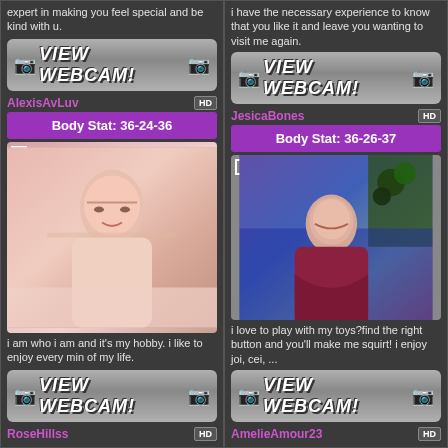expert in making you feel special and be kind with u.
i have the necessary experience to know that you like it and leave you wanting to visit me again.
[Figure (other): VIEW WEBCAM! button with webcam icons]
[Figure (other): VIEW WEBCAM! button with webcam icons]
AlexisAvLuv
JesicaBones
Body Stat: 36-24-36
Body Stat: 36-26-37
[Figure (photo): Photo of AlexisAvLuv - young woman with long hair resting hand on head]
[Figure (photo): Photo of JesicaBones - woman in red dress with curly hair, Christmas tree background]
i am who i am and it's my hobby. i like to enjoy every min of my life.
i love to play with my toys?find the right button and you'll make me squirt! i enjoy joi, cei, ...
[Figure (other): VIEW WEBCAM! button with webcam icons]
[Figure (other): VIEW WEBCAM! button with webcam icons]
RoseHillss
AmelieAmour23